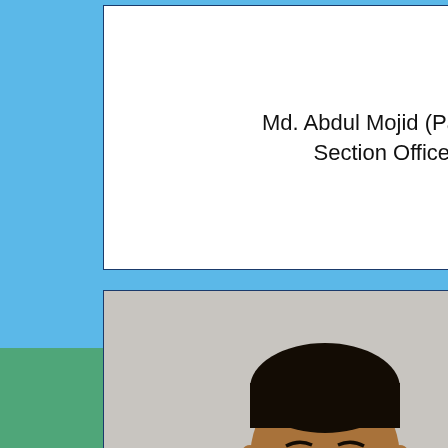Md. Abdul Mojid (Parosh)
Section Officer
[Figure (photo): Portrait photo of Wahidur Rahman Rasel, a man in a dark suit with tie]
Wahidur Rahman Rasel
Technical Officer